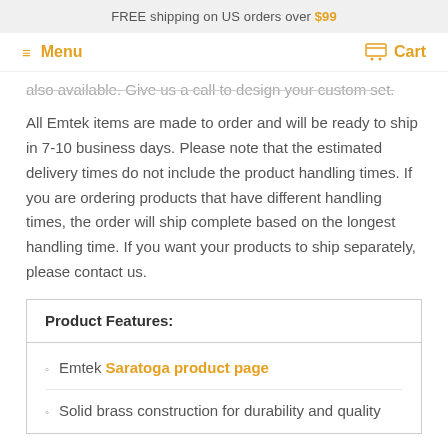FREE shipping on US orders over $99
Menu  Cart
also available. Give us a call to design your custom set.
All Emtek items are made to order and will be ready to ship in 7-10 business days. Please note that the estimated delivery times do not include the product handling times. If you are ordering products that have different handling times, the order will ship complete based on the longest handling time. If you want your products to ship separately, please contact us.
Product Features:
Emtek Saratoga product page
Solid brass construction for durability and quality